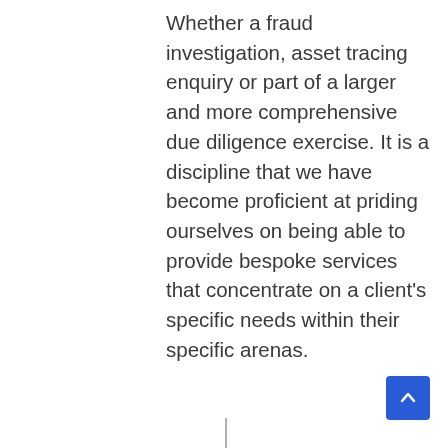Whether a fraud investigation, asset tracing enquiry or part of a larger and more comprehensive due diligence exercise. It is a discipline that we have become proficient at priding ourselves on being able to provide bespoke services that concentrate on a client's specific needs within their specific arenas.